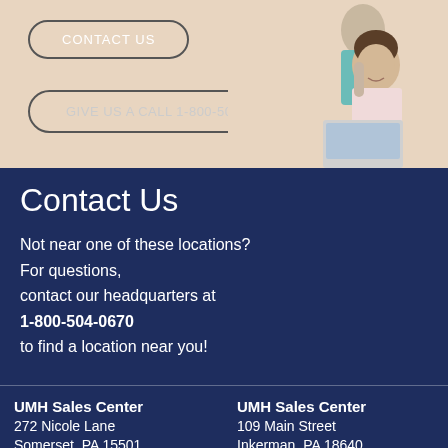[Figure (photo): Banner with beige background, two buttons (CONTACT US and GIVE US A CALL 1-800-504-0670), and photo of a smiling man and woman at a laptop on the right side.]
Contact Us
Not near one of these locations? For questions, contact our headquarters at 1-800-504-0670 to find a location near you!
UMH Sales Center
272 Nicole Lane
Somerset, PA 15501
(814) 445-6071
Hours
UMH Sales Center
109 Main Street
Inkerman, PA 18640
(570) 655-9643
Hours